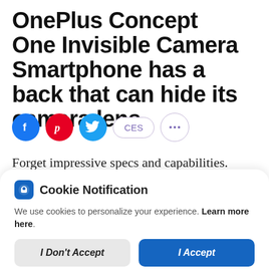OnePlus Concept One Invisible Camera Smartphone has a back that can hide its camera lens
[Figure (infographic): Social sharing icons: Facebook (blue circle), Pinterest (red circle), Twitter (cyan circle), CES tag (pill label), More (dotted circle icon)]
Forget impressive specs and capabilities.
Cookie Notification
We use cookies to personalize your experience. Learn more here.
I Don't Accept | I Accept